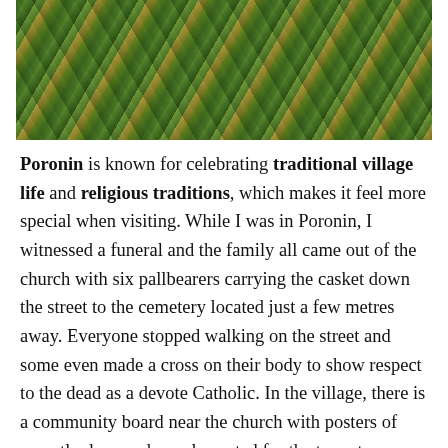[Figure (photo): Photograph of grassy hillside with wild grass and green vegetation, some dried brown grass in foreground.]
Poronin is known for celebrating traditional village life and religious traditions, which makes it feel more special when visiting. While I was in Poronin, I witnessed a funeral and the family all came out of the church with six pallbearers carrying the casket down the street to the cemetery located just a few metres away. Everyone stopped walking on the street and some even made a cross on their body to show respect to the dead as a devote Catholic. In the village, there is a community board near the church with posters of recently deceased people posted for the town to see. This tradition is known within my family's small village